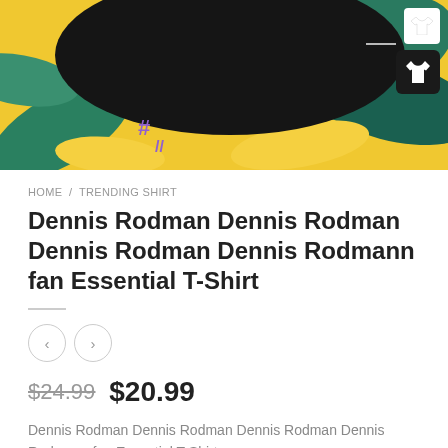[Figure (photo): Product page hero image showing a black t-shirt design with tropical/floral background in teal and yellow, with a t-shirt icon in top right corner]
HOME / TRENDING SHIRT
Dennis Rodman Dennis Rodman Dennis Rodman Dennis Rodmann fan Essential T-Shirt
$24.99  $20.99
Dennis Rodman Dennis Rodman Dennis Rodman Dennis Rodmann fan Essential T-Shirt
BUY THIS SHIRT